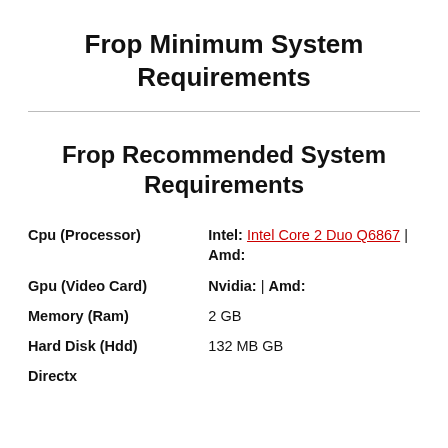Frop Minimum System Requirements
Frop Recommended System Requirements
|  |  |
| --- | --- |
| Cpu (Processor) | Intel: Intel Core 2 Duo Q6867 | Amd: |
| Gpu (Video Card) | Nvidia: | Amd: |
| Memory (Ram) | 2 GB |
| Hard Disk (Hdd) | 132 MB GB |
| Directx |  |